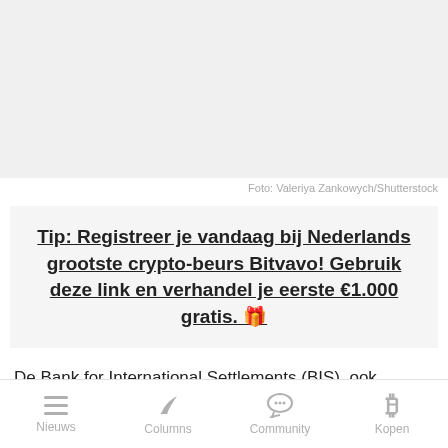[Figure (photo): Light gray photo placeholder area at top of page]
Foto: Valeriya Zankowych/Shutterstock
Tip: Registreer je vandaag bij Nederlands grootste crypto-beurs Bitvavo! Gebruik deze link en verhandel je eerste €1.000 gratis. 🎁
De Bank for International Settlements (BIS), ook bekend als de Bank voor Internationale Betalingen (BIB),  is één van de grote overheidsorganisaties die ogenschijnlijk het
Nieuws   Columns   Community   Kopen